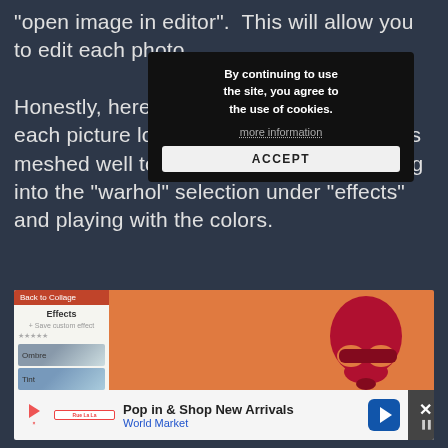"open image in editor".  This will allow you to edit each photo.  Honestly, here I just played around until each picture looked cool and all the photos meshed well together.  I started by heading into the "warhol" selection under "effects" and playing with the colors.
[Figure (screenshot): Cookie consent popup overlay on a dark background, with text 'By continuing to use the site, you agree to the use of cookies.' and a 'more information' link and an ACCEPT button]
[Figure (screenshot): Screenshot of a photo editor showing an 'Effects' panel on the left with options including Ombre and Tint, and the main canvas showing a red silhouette of a person with sunglasses on an orange background in Warhol style]
[Figure (screenshot): Advertisement banner for World Market 'Pop in & Shop New Arrivals' with a play button, store logo, navigation icon, and close button]